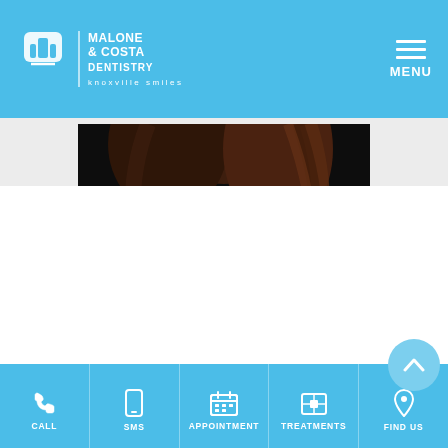[Figure (logo): Malone & Costa Dentistry logo with tooth icon and tagline 'knoxville smiles' on blue header]
MENU
[Figure (photo): Person with brown hair against dark background, partially cropped]
Andi
We use cookies to enhance your experience. By continuing to use our website, you consent to our use of cookies.
Got It
CALL | SMS | APPOINTMENT | TREATMENTS | FIND US